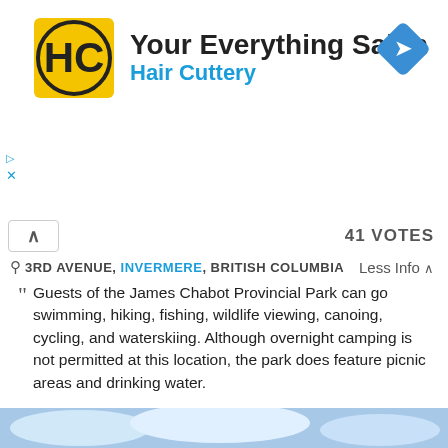[Figure (screenshot): Hair Cuttery advertisement banner with yellow/black HC logo, title 'Your Everything Salon', subtitle 'Hair Cuttery', and blue navigation diamond icon]
41 VOTES
3RD AVENUE, INVERMERE, BRITISH COLUMBIA
Less Info
Guests of the James Chabot Provincial Park can go swimming, hiking, fishing, wildlife viewing, canoing, cycling, and waterskiing. Although overnight camping is not permitted at this location, the park does feature picnic areas and drinking water.
[Figure (screenshot): Washington State University online graduate program advertisement with 'Graduate Online in 16 Months' heading, description text, and red Learn More button]
[Figure (photo): Partial photo strip at bottom showing blue sky/clouds or water scene]